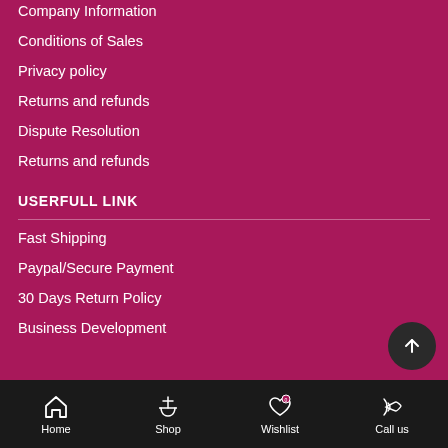Company Information
Conditions of Sales
Privacy policy
Returns and refunds
Dispute Resolution
Returns and refunds
USERFULL LINK
Fast Shipping
Paypal/Secure Payment
30 Days Return Policy
Business Development
Home  Shop  Wishlist  Call us